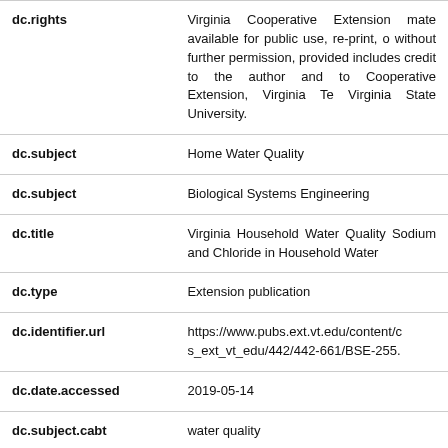| Field | Value |
| --- | --- |
| dc.rights | Virginia Cooperative Extension mate available for public use, re-print, o without further permission, provided includes credit to the author and to Cooperative Extension, Virginia Te Virginia State University. |
| dc.subject | Home Water Quality |
| dc.subject | Biological Systems Engineering |
| dc.title | Virginia Household Water Quality Sodium and Chloride in Household Water |
| dc.type | Extension publication |
| dc.identifier.url | https://www.pubs.ext.vt.edu/content/c s_ext_vt_edu/442/442-661/BSE-255. |
| dc.date.accessed | 2019-05-14 |
| dc.subject.cabt | water quality |